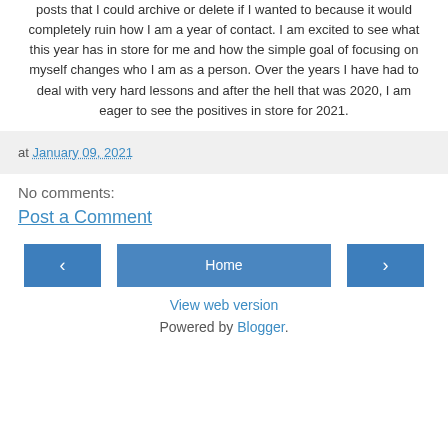posts that I could archive or delete if I wanted to because it would completely ruin how I am a year of contact. I am excited to see what this year has in store for me and how the simple goal of focusing on myself changes who I am as a person. Over the years I have had to deal with very hard lessons and after the hell that was 2020, I am eager to see the positives in store for 2021.
at January 09, 2021
No comments:
Post a Comment
Home
View web version
Powered by Blogger.